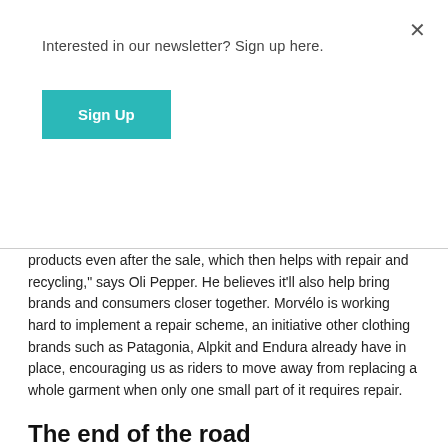Interested in our newsletter? Sign up here.
Sign Up
×
products even after the sale, which then helps with repair and recycling," says Oli Pepper. He believes it'll also help bring brands and consumers closer together. Morvélo is working hard to implement a repair scheme, an initiative other clothing brands such as Patagonia, Alpkit and Endura already have in place, encouraging us as riders to move away from replacing a whole garment when only one small part of it requires repair.
The end of the road
Closing off the loop, is how we behave at the end of a product's life. One question to ask is whether it really is the end of the road? The old adage, of one man's garbage is another man's gold, has never rang truer than over the last year, as secondhand sales have soared across the board.